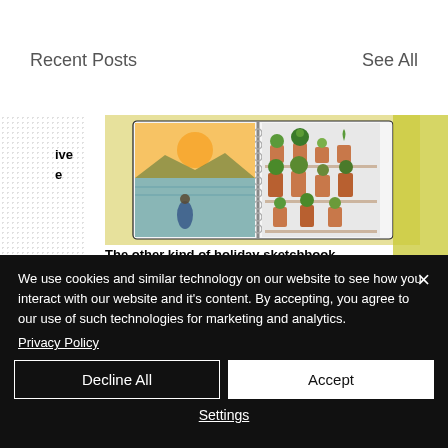Recent Posts
See All
[Figure (illustration): A sketchbook open to two watercolor paintings: left side shows a landscape with a sunset over water and a person, right side shows potted cactus plants on shelves. Background has yellow-green speckled texture.]
The other kind of holiday sketchbook
We use cookies and similar technology on our website to see how you interact with our website and it's content. By accepting, you agree to our use of such technologies for marketing and analytics.
Privacy Policy
Decline All
Accept
Settings